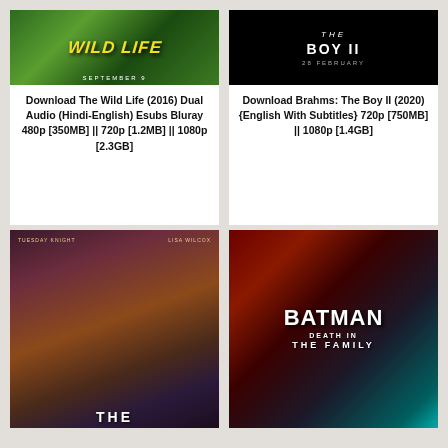[Figure (photo): Movie poster for The Wild Life (2016) animated film with yellow title text on green jungle background, SEPTEMBER 9 text at bottom]
Download The Wild Life (2016) Dual Audio (Hindi-English) Esubs Bluray 480p [350MB] || 720p [1.2MB] || 1080p [2.3GB]
[Figure (photo): Movie poster for Brahms: The Boy II (2020) with dark/black background, THE BOY II title text, 28 FEBRUARY date]
Download Brahms: The Boy II (2020) {English With Subtitles} 720p [750MB] || 1080p [1.4GB]
[Figure (photo): Movie poster for a horror film featuring Tuesday Knight and Lisa Wilcox, showing female characters with THE title text at bottom]
[Figure (photo): Movie poster for Batman: Death in the Family animated film featuring Batman in costume holding a figure, red and teal background]